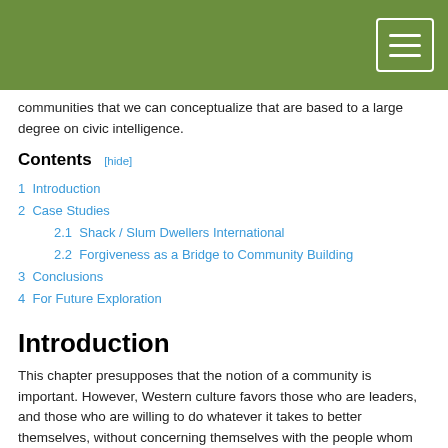communities that we can conceptualize that are based to a large degree on civic intelligence.
Contents
1  Introduction
2  Case Studies
2.1  Shack / Slum Dwellers International
2.2  Forgiveness as a Bridge to Community Building
3  Conclusions
4  For Future Exploration
Introduction
This chapter presupposes that the notion of a community is important. However, Western culture favors those who are leaders, and those who are willing to do whatever it takes to better themselves, without concerning themselves with the people whom they trample on their way to the top. Before contemporary accessibility of